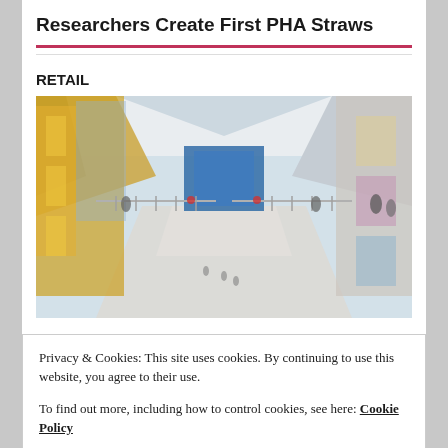Researchers Create First PHA Straws
RETAIL
[Figure (photo): Interior of a large modern shopping mall with multiple levels, glass railings, bright lighting, and shoppers visible throughout]
Privacy & Cookies: This site uses cookies. By continuing to use this website, you agree to their use.
To find out more, including how to control cookies, see here: Cookie Policy
Close and accept
Receive new posts by email.